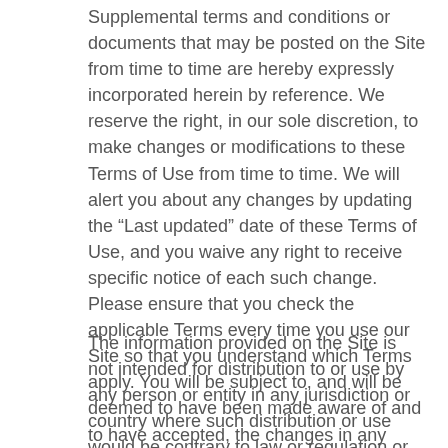Supplemental terms and conditions or documents that may be posted on the Site from time to time are hereby expressly incorporated herein by reference. We reserve the right, in our sole discretion, to make changes or modifications to these Terms of Use from time to time. We will alert you about any changes by updating the “Last updated” date of these Terms of Use, and you waive any right to receive specific notice of each such change. Please ensure that you check the applicable Terms every time you use our Site so that you understand which Terms apply. You will be subject to, and will be deemed to have been made aware of and to have accepted, the changes in any revised Terms of Use by your continued use of the Site after the date such revised Terms of Use are posted.
The information provided on the Site is not intended for distribution to or use by any person or entity in any jurisdiction or country where such distribution or use would be contrary to law or regulation or which would subject us to any registration requirement within such jurisdiction or country. Accordingly, those persons who choose to access the Site from other locations do so on their own initiative